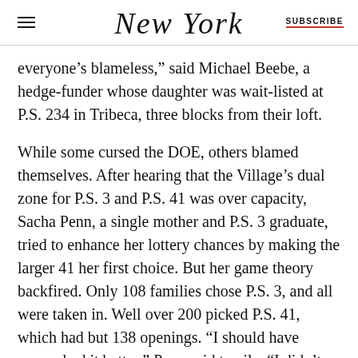NEW YORK | SUBSCRIBE
everyone’s blameless,” said Michael Beebe, a hedge-funder whose daughter was wait-listed at P.S. 234 in Tribeca, three blocks from their loft.
While some cursed the DOE, others blamed themselves. After hearing that the Village’s dual zone for P.S. 3 and P.S. 41 was over capacity, Sacha Penn, a single mother and P.S. 3 graduate, tried to enhance her lottery chances by making the larger 41 her first choice. But her game theory backfired. Only 108 families chose P.S. 3, and all were taken in. Well over 200 picked P.S. 41, which had but 138 openings. “I should have researched it better,” Penn said tearily. “I didn’t take care of my daughter. I didn’t secure her a spot.”